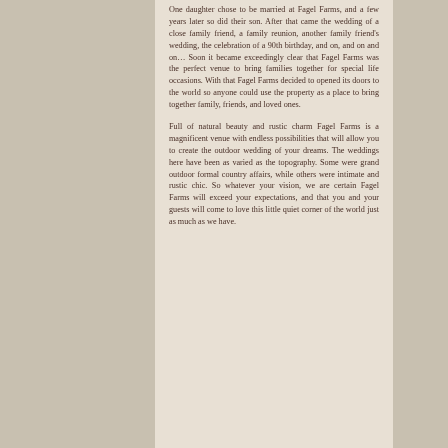One daughter chose to be married at Fagel Farms, and a few years later so did their son. After that came the wedding of a close family friend, a family reunion, another family friend's wedding, the celebration of a 90th birthday, and on, and on and on… Soon it became exceedingly clear that Fagel Farms was the perfect venue to bring families together for special life occasions. With that Fagel Farms decided to opened its doors to the world so anyone could use the property as a place to bring together family, friends, and loved ones.
Full of natural beauty and rustic charm Fagel Farms is a magnificent venue with endless possibilities that will allow you to create the outdoor wedding of your dreams. The weddings here have been as varied as the topography. Some were grand outdoor formal country affairs, while others were intimate and rustic chic. So whatever your vision, we are certain Fagel Farms will exceed your expectations, and that you and your guests will come to love this little quiet corner of the world just as much as we have.